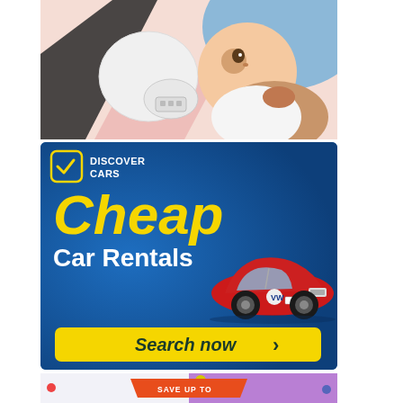[Figure (photo): Mother lying down kissing a baby, with a white wearable breast pump device visible in the foreground, against a colorful background with pink and blue geometric shapes.]
[Figure (infographic): Discover Cars advertisement banner with blue background. Shows the Discover Cars logo with checkmark icon, text 'Cheap Car Rentals' in yellow and white, a red Volkswagen Polo car, and a yellow 'Search now' button with arrow.]
[Figure (infographic): Partially visible advertisement at bottom showing colorful background with dots and a 'SAVE UP TO' banner in red/orange.]